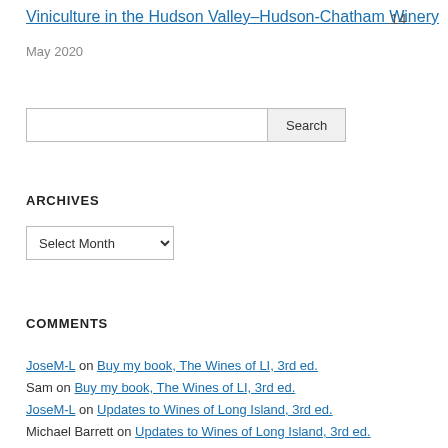Viniculture in the Hudson Valley–Hudson-Chatham Winery  14
May 2020
[Figure (other): Search input field with Search button]
ARCHIVES
[Figure (other): Select Month dropdown]
COMMENTS
JoseM-L on Buy my book, The Wines of LI, 3rd ed.
Sam on Buy my book, The Wines of LI, 3rd ed.
JoseM-L on Updates to Wines of Long Island, 3rd ed.
Michael Barrett on Updates to Wines of Long Island, 3rd ed.